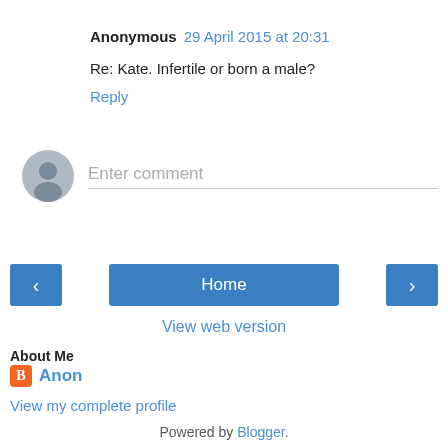Anonymous 29 April 2015 at 20:31
Re: Kate. Infertile or born a male?
Reply
[Figure (other): Comment input field with user avatar and placeholder text 'Enter comment']
[Figure (other): Navigation buttons: left arrow, Home button, right arrow]
View web version
About Me
Anon
View my complete profile
Powered by Blogger.